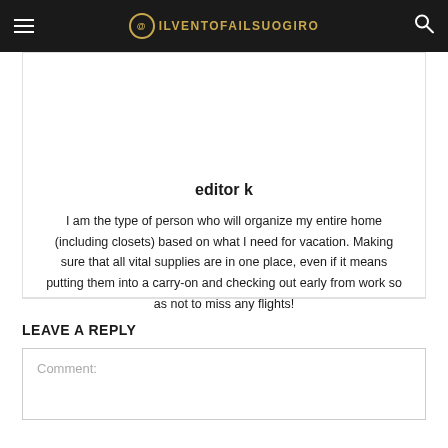@ILVENTOFAILSUOGIRO
editor k
I am the type of person who will organize my entire home (including closets) based on what I need for vacation. Making sure that all vital supplies are in one place, even if it means putting them into a carry-on and checking out early from work so as not to miss any flights!
LEAVE A REPLY